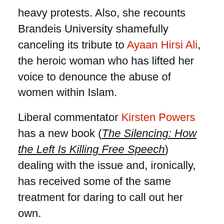heavy protests. Also, she recounts Brandeis University shamefully canceling its tribute to Ayaan Hirsi Ali, the heroic woman who has lifted her voice to denounce the abuse of women within Islam.
Liberal commentator Kirsten Powers has a new book (The Silencing: How the Left Is Killing Free Speech) dealing with the issue and, ironically, has received some of the same treatment for daring to call out her own.
Parker appropriately mocked the so-called “safe space” created at Georgetown University to protect these “sensitive flowers” from the horrors of hearing conservative views. Further, anyone who dares express any views falling outside of accepted liberal doctrine is to be “condemned as a ‘hater,’” wrote Parker, who concluded, “Now there’s a winning debate argument. If